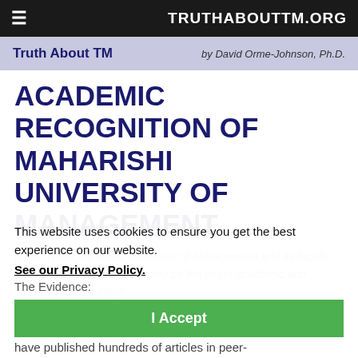≡   TRUTHABOUTTM.ORG
Truth About TM   by David Orme-Johnson, Ph.D.
ACADEMIC RECOGNITION OF MAHARISHI UNIVERSITY OF MANAGEMENT
Issue: Have Maharishi University of Management and its faculty and scientists been recognized by the larger academic and scientists community?
This website uses cookies to ensure you get the best experience on our website.
See our Privacy Policy.
The Evidence:
I Accept
Over the 30 years of the university's history, the faculty of Maharishi University of Management have published hundreds of articles in peer-